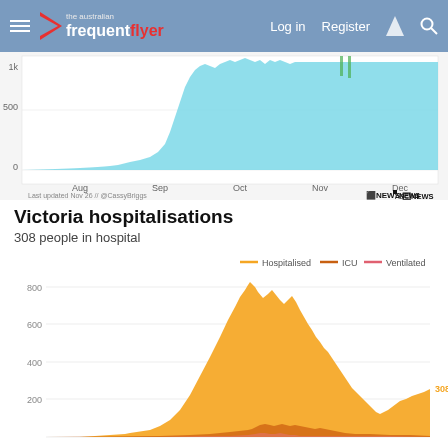The Australian Frequent Flyer — Log in  Register
[Figure (area-chart): Partial area chart showing COVID data with cyan/teal fill, with x-axis labels Aug, Sep, Oct, Nov, Dec and y-axis around 0-500+. ABC News attribution.]
Victoria hospitalisations
308 people in hospital
[Figure (area-chart): Victoria hospitalisations]